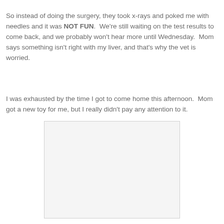So instead of doing the surgery, they took x-rays and poked me with needles and it was NOT FUN.  We're still waiting on the test results to come back, and we probably won't hear more until Wednesday.  Mom says something isn't right with my liver, and that's why the vet is worried.
I was exhausted by the time I got to come home this afternoon.  Mom got a new toy for me, but I really didn't pay any attention to it.
[Figure (photo): A blank/white rectangular image placeholder with a light gray background and thin border.]